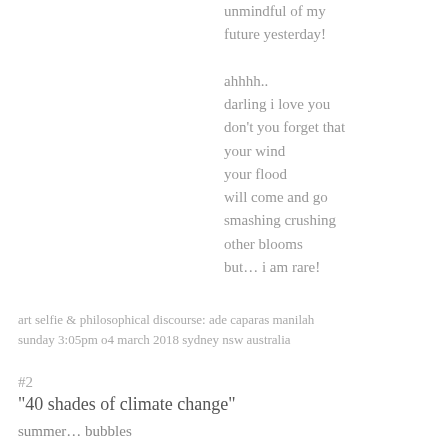unmindful of my
future yesterday!

ahhhh..
darling i love you
don't you forget that
your wind
your flood
will come and go
smashing crushing
other blooms
but… i am rare!
art selfie & philosophical discourse: ade caparas manilah
sunday 3:05pm o4 march 2018 sydney nsw australia
#2
“40 shades of climate change”
summer… bubbles
autumn… tickles
winter… cuddles